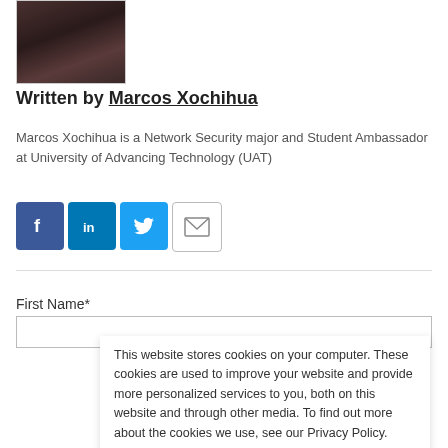[Figure (photo): Author photo of Marcos Xochihua, a dark toned portrait image]
Written by Marcos Xochihua
Marcos Xochihua is a Network Security major and Student Ambassador at University of Advancing Technology (UAT)
[Figure (infographic): Social sharing icons: Facebook, LinkedIn, Twitter, Email]
First Name*
This website stores cookies on your computer. These cookies are used to improve your website and provide more personalized services to you, both on this website and through other media. To find out more about the cookies we use, see our Privacy Policy.